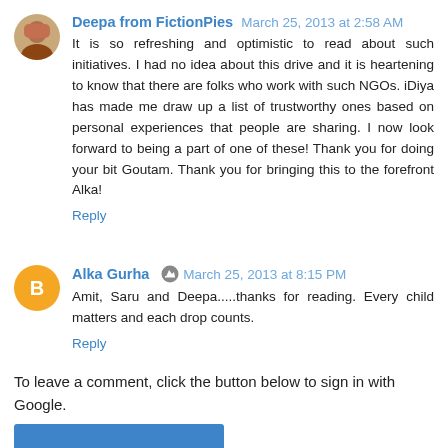Deepa from FictionPies  March 25, 2013 at 2:58 AM
It is so refreshing and optimistic to read about such initiatives. I had no idea about this drive and it is heartening to know that there are folks who work with such NGOs. iDiya has made me draw up a list of trustworthy ones based on personal experiences that people are sharing. I now look forward to being a part of one of these! Thank you for doing your bit Goutam. Thank you for bringing this to the forefront Alka!
Reply
Alka Gurha  March 25, 2013 at 8:15 PM
Amit, Saru and Deepa.....thanks for reading. Every child matters and each drop counts.
Reply
To leave a comment, click the button below to sign in with Google.